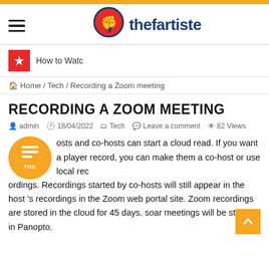thefartiste
How to Watc
Home / Tech / Recording a Zoom meeting
RECORDING A ZOOM MEETING
admin  18/04/2022  Tech  Leave a comment  82 Views
osts and co-hosts can start a cloud read. If you want a player record, you can make them a co-host or use local recordings. Recordings started by co-hosts will still appear in the host 's recordings in the Zoom web portal site. Zoom recordings are stored in the cloud for 45 days. soar meetings will be stored in Panopto.